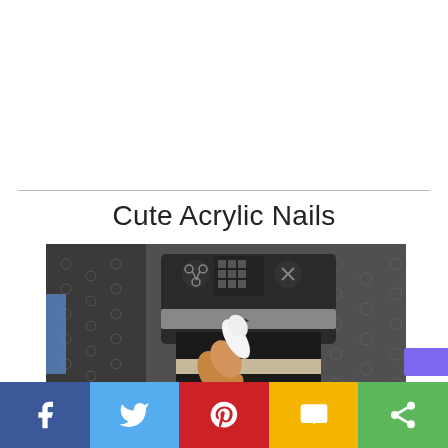Cute Acrylic Nails
[Figure (photo): A finger with a long white acrylic nail pressing a button on a car steering wheel control panel with dark textured leather interior]
[Figure (infographic): Social media sharing bar with Facebook, Twitter, Pinterest, SMS, and share buttons]